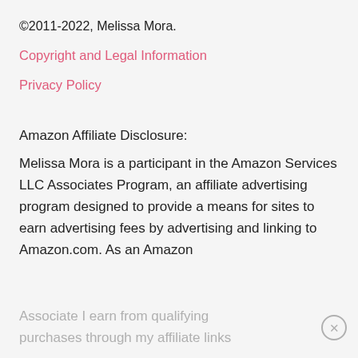©2011-2022, Melissa Mora.
Copyright and Legal Information
Privacy Policy
Amazon Affiliate Disclosure:
Melissa Mora is a participant in the Amazon Services LLC Associates Program, an affiliate advertising program designed to provide a means for sites to earn advertising fees by advertising and linking to Amazon.com. As an Amazon
Associate I earn from qualifying
purchases through my affiliate links